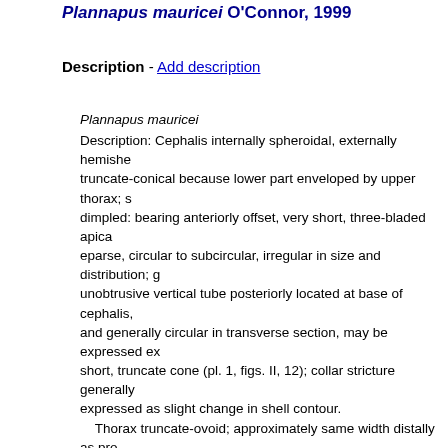Plannapus mauricei O'Connor, 1999
Description - Add description
Plannapus mauricei
Description: Cephalis internally spheroidal, externally hemisphere truncate-conical because lower part enveloped by upper thorax; dimpled: bearing anteriorly offset, very short, three-bladed apica eparse, circular to subcircular, irregular in size and distribution; unobtrusive vertical tube posteriorly located at base of cephalis, and generally circular in transverse section, may be expressed ex short, truncate cone (pl. 1, figs. II, 12); collar stricture generally expressed as slight change in shell contour.
Thorax truncate-ovoid; approximately same width distally as pro part at or slightly below mid thorax; pores large, circular to subc countersunk, hexagonally framed, generally quincuncially arrang generally slight size increase to widest part of thorax then slight peristome; low longitudinal ridges separating longitudinal pore r below collar stricture and terminate at peristome, zigzag slightly origin as pore bars; distal-most pore row downward directed and peristome; three internally distinct, externally indistinct ribs corr Ll and Lr may extend outside as tiny wings on upper thorax (pl. external contour change between thorax and peristome; peristom poreless, externally inverted truncate-conical, internally cylindri constricted; termination smooth.